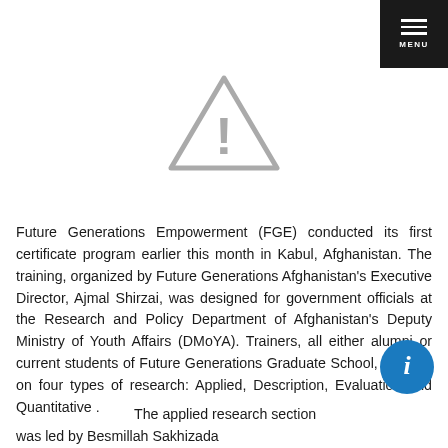[Figure (other): Warning/caution triangle icon with exclamation mark, gray outline]
Future Generations Empowerment (FGE) conducted its first certificate program earlier this month in Kabul, Afghanistan. The training, organized by Future Generations Afghanistan's Executive Director, Ajmal Shirzai, was designed for government officials at the Research and Policy Department of Afghanistan's Deputy Ministry of Youth Affairs (DMoYA). Trainers, all either alumni or current students of Future Generations Graduate School, focused on four types of research: Applied, Description, Evaluation and Quantitative .
The applied research section was led by Besmillah Sakhizada